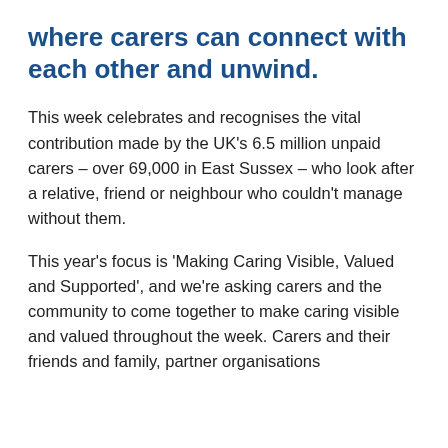where carers can connect with each other and unwind.
This week celebrates and recognises the vital contribution made by the UK's 6.5 million unpaid carers – over 69,000 in East Sussex – who look after a relative, friend or neighbour who couldn't manage without them.
This year's focus is 'Making Caring Visible, Valued and Supported', and we're asking carers and the community to come together to make caring visible and valued throughout the week. Carers and their friends and family, partner organisations